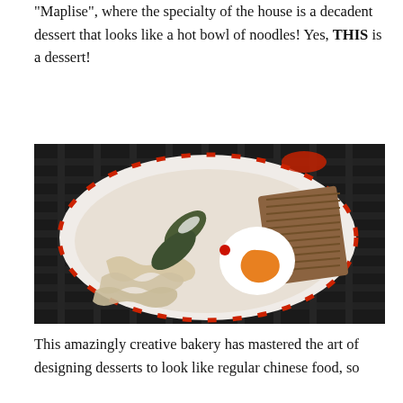“Maplise”, where the specialty of the house is a decadent dessert that looks like a hot bowl of noodles! Yes, THIS is a dessert!
[Figure (photo): A bowl of dessert designed to look like a bowl of ramen noodles, featuring cream-colored noodle-shaped sweets, dark green mochi pieces dusted with white shreds, layered brown crepe/millefeuille, and a white round piece with orange custard resembling a soft-boiled egg, all in a white bowl with red pattern on a dark woven mat background.]
This amazingly creative bakery has mastered the art of designing desserts to look like regular chinese food, so